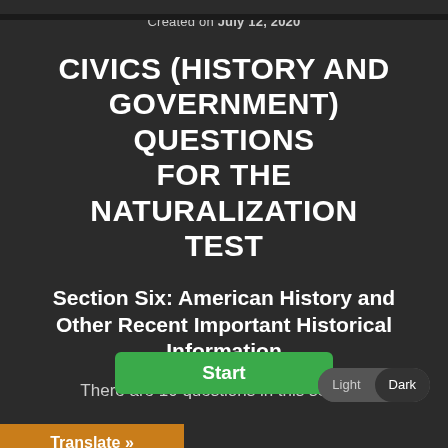Created on July 12, 2020
CIVICS (HISTORY AND GOVERNMENT) QUESTIONS FOR THE NATURALIZATION TEST
Section Six: American History and Other Recent Important Historical Information
There are 10 questions in this section.